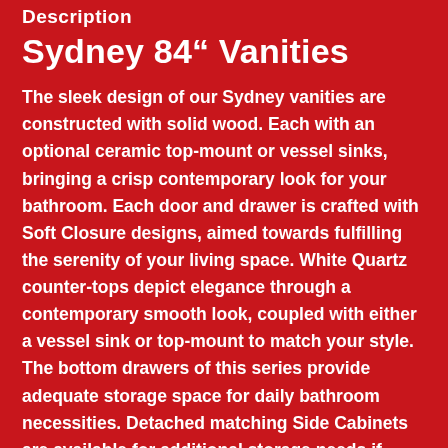Description
Sydney 84” Vanities
The sleek design of our Sydney vanities are constructed with solid wood. Each with an optional ceramic top-mount or vessel sinks, bringing a crisp contemporary look for your bathroom. Each door and drawer is crafted with Soft Closure designs, aimed towards fulfilling the serenity of your living space. White Quartz counter-tops depict elegance through a contemporary smooth look, coupled with either a vessel sink or top-mount to match your style. The bottom drawers of this series provide adequate storage space for daily bathroom necessities. Detached matching Side Cabinets are available for additional storage needs if suitable. Completing this set, is a matching framed wall mirror which features the same beautifully rich colors of vanity’s colors; expressing the exquisiteness of the fine cabinetry which is available in a few different colors and sizes. Mirror, combining different sizes